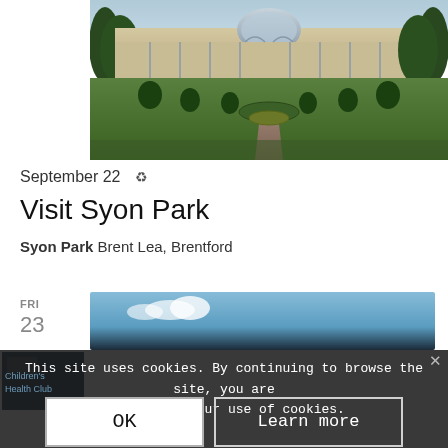[Figure (photo): Photograph of Syon Park's Great Conservatory building with glass dome, formal gardens, trimmed topiary, and a central path leading to the entrance]
September 22 ↻
Visit Syon Park
Syon Park Brent Lea, Brentford
FRI
23
[Figure (screenshot): Partial screenshot of a card with blue sky image]
This site uses cookies. By continuing to browse the site, you are agreeing to our use of cookies.
OK
Learn more